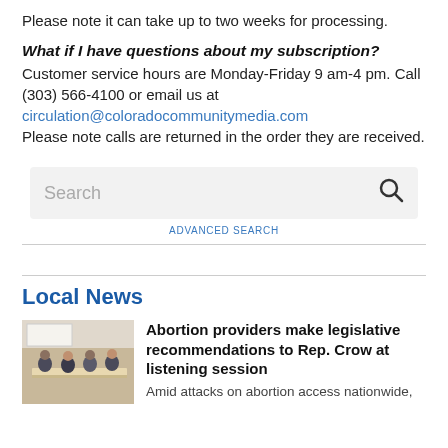Please note it can take up to two weeks for processing.
What if I have questions about my subscription?
Customer service hours are Monday-Friday 9 am-4 pm. Call (303) 566-4100 or email us at circulation@coloradocommunitymedia.com Please note calls are returned in the order they are received.
[Figure (screenshot): Search bar with 'Search' placeholder text and a magnifying glass icon on a light gray background]
ADVANCED SEARCH
Local News
[Figure (photo): People sitting around a table in a meeting or listening session]
Abortion providers make legislative recommendations to Rep. Crow at listening session
Amid attacks on abortion access nationwide,